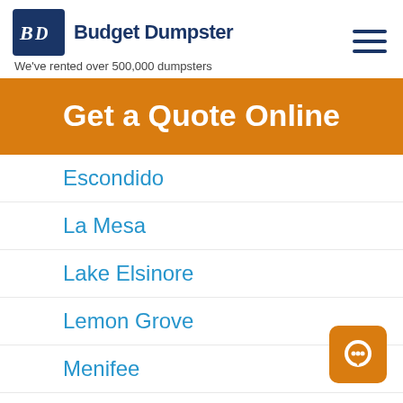Budget Dumpster — We've rented over 500,000 dumpsters
Get a Quote Online
Escondido
La Mesa
Lake Elsinore
Lemon Grove
Menifee
Murrieta
Oceanside
Poway